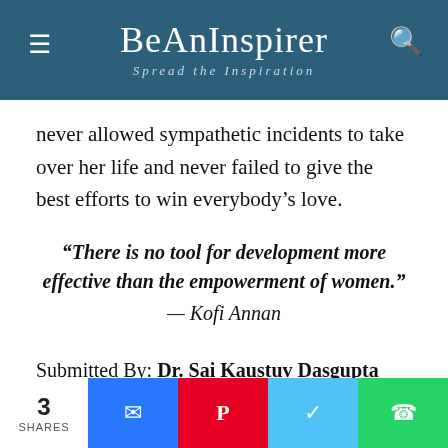BeAnInspirer — Spread the Inspiration
never allowed sympathetic incidents to take over her life and never failed to give the best efforts to win everybody's love.
“There is no tool for development more effective than the empowerment of women.” — Kofi Annan
Submitted By: Dr. Sai Kaustuv Dasgupta
3 SHARES